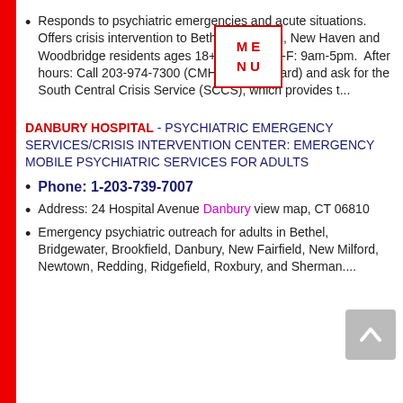Responds to psychiatric emergencies and acute situations. Offers crisis intervention to Bethany, Hamden, New Haven and Woodbridge residents ages 18+, in need, M-F: 9am-5pm. After hours: Call 203-974-7300 (CMHC Switchboard) and ask for the South Central Crisis Service (SCCS), which provides t...
DANBURY HOSPITAL - PSYCHIATRIC EMERGENCY SERVICES/CRISIS INTERVENTION CENTER: EMERGENCY MOBILE PSYCHIATRIC SERVICES FOR ADULTS
Phone: 1-203-739-7007
Address: 24 Hospital Avenue Danbury view map, CT 06810
Emergency psychiatric outreach for adults in Bethel, Bridgewater, Brookfield, Danbury, New Fairfield, New Milford, Newtown, Redding, Ridgefield, Roxbury, and Sherman....